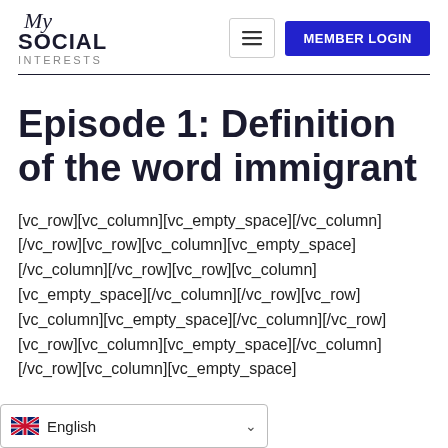My Social Interests — MEMBER LOGIN
Episode 1: Definition of the word immigrant
[vc_row][vc_column][vc_empty_space][/vc_column][/vc_row][vc_row][vc_column][vc_empty_space][/vc_column][/vc_row][vc_row][vc_column][vc_empty_space][/vc_column][/vc_row][vc_row][vc_column][vc_empty_space][/vc_column][/vc_row][vc_row][vc_column][vc_empty_space][/vc_column][/vc_row][/vc_row][vc_column][vc_empty_space]